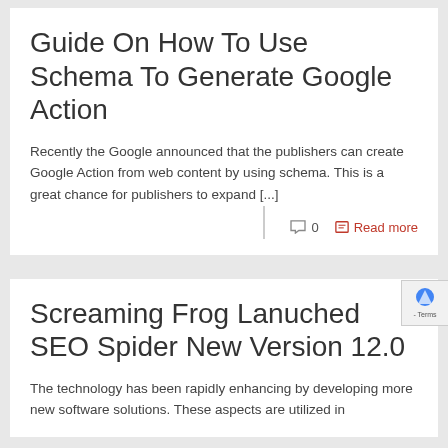Guide On How To Use Schema To Generate Google Action
Recently the Google announced that the publishers can create Google Action from web content by using schema. This is a great chance for publishers to expand [...]
0   Read more
Screaming Frog Lanuched SEO Spider New Version 12.0
The technology has been rapidly enhancing by developing more new software solutions. These aspects are utilized in